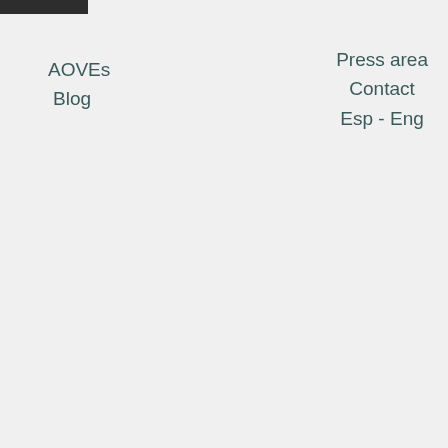AOVEs
Blog
Press area
Contact
Esp - Eng